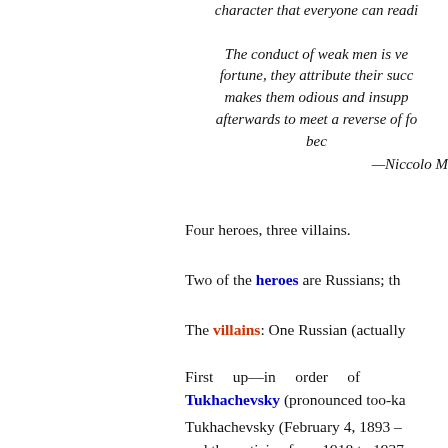character that everyone can readi...
The conduct of weak men is ve... fortune, they attribute their succ... makes them odious and insupp... afterwards to meet a reverse of fo... bec... —Niccolo M...
Four heroes, three villains.
Two of the heroes are Russians; th...
The villains: One Russian (actually...
First up—in order of ... Tukhachevsky (pronounced too-ka...
Tukhachevsky (February 4, 1893 – ... and theorician from 1918 to 1937...
He commanded the Soviet Wester... and was Chief of Staff of th...